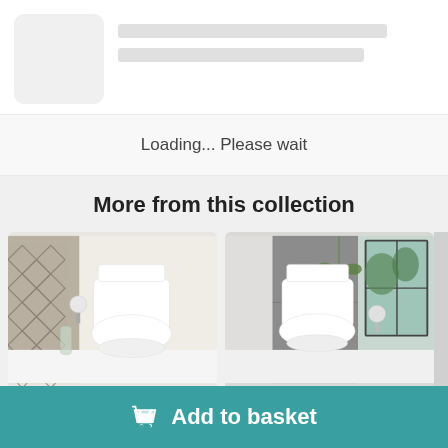[Figure (screenshot): Loading placeholder with grey image box and grey lines representing text, alongside a loading message and product collection section with toilet product photos and Add to basket button]
Loading... Please wait
More from this collection
[Figure (photo): Bathroom photo showing a white close-coupled toilet with patterned grey wallpaper and toilet roll holder]
[Figure (photo): Bathroom photo showing a white close-coupled toilet with grey cabinetry and green plant]
Add to basket